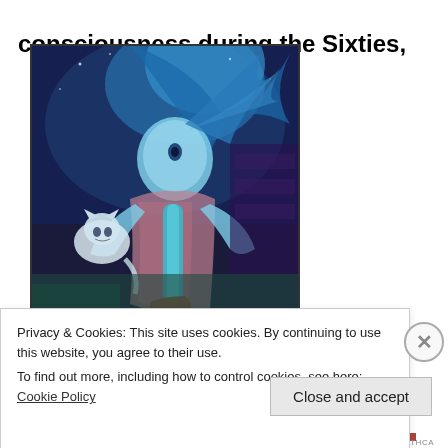consciousness during the Sixties,
[Figure (illustration): A surrealist painting in shades of blue and teal depicting a mystical figure with a round head and flowing blue hair/energy, sitting with hands raised over a glowing teal vertical beam or plant-like form rising from a pot. A white cat sits to the left of the figure. The background features dark blues and purples with shelving or architectural elements.]
Privacy & Cookies: This site uses cookies. By continuing to use this website, you agree to their use.
To find out more, including how to control cookies, see here: Cookie Policy
Close and accept